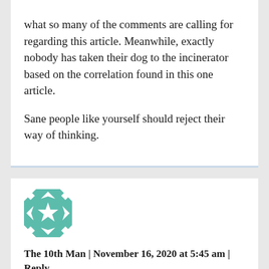what so many of the comments are calling for regarding this article. Meanwhile, exactly nobody has taken their dog to the incinerator based on the correlation found in this one article.

Sane people like yourself should reject their way of thinking.
[Figure (illustration): Teal and white geometric quilt-pattern square avatar image for user 'The 10th Man']
The 10th Man | November 16, 2020 at 5:45 am | Reply
Here is another little factoid. CoV-19